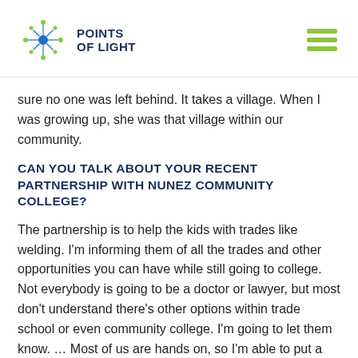[Figure (logo): Points of Light logo with star/dot graphic and hamburger menu icon on the right]
sure no one was left behind. It takes a village. When I was growing up, she was that village within our community.
CAN YOU TALK ABOUT YOUR RECENT PARTNERSHIP WITH NUNEZ COMMUNITY COLLEGE?
The partnership is to help the kids with trades like welding. I'm informing them of all the trades and other opportunities you can have while still going to college. Not everybody is going to be a doctor or lawyer, but most don't understand there's other options within trade school or even community college. I'm going to let them know. … Most of us are hands on, so I'm able to put a child in a position to see what they really love to do. They